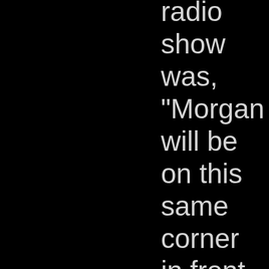radio show was, "Morgan will be on this same corner in front of the cigar store tomorrow When Morgan was in the Army, he drilled troops, shouting comman